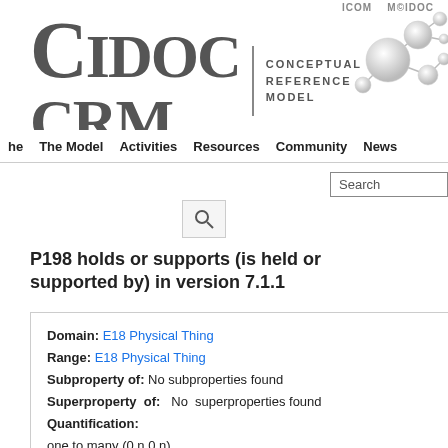[Figure (logo): CIDOC CRM Conceptual Reference Model logo with molecule graphic]
The Model  Activities  Resources  Community  News
Search
P198 holds or supports (is held or supported by) in version 7.1.1
Domain: E18 Physical Thing
Range: E18 Physical Thing
Subproperty of: No subproperties found
Superproperty of: No superproperties found
Quantification:
one to many (0,n,0,n)
Scope Note: